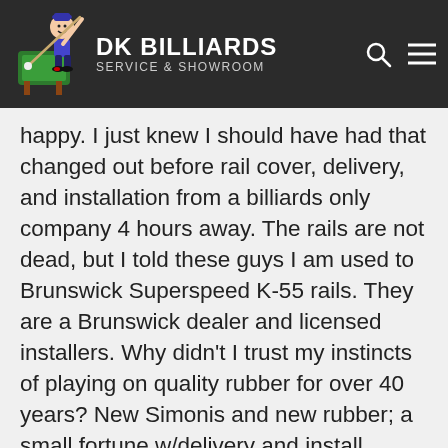DK BILLIARDS SERVICE & SHOWROOM
And 2017 a few years later, and the American Heritage Eclipse with so-called K-66 rubber and I am not happy. I just knew I should have had that changed out before rail cover, delivery, and installation from a billiards only company 4 hours away. The rails are not dead, but I told these guys I am used to Brunswick Superspeed K-55 rails. They are a Brunswick dealer and licensed installers. Why didn't I trust my instincts of playing on quality rubber for over 40 years? New Simonis and new rubber; a small fortune w/delivery and install